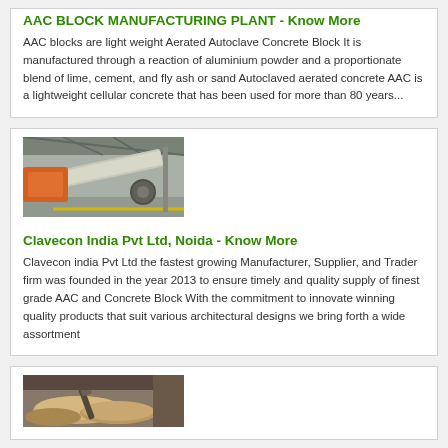AAC BLOCK MANUFACTURING PLANT - Know More
AAC blocks are light weight Aerated Autoclave Concrete Block It is manufactured through a reaction of aluminium powder and a proportionate blend of lime, cement, and fly ash or sand Autoclaved aerated concrete AAC is a lightweight cellular concrete that has been used for more than 80 years...
[Figure (photo): Industrial manufacturing facility with conveyor equipment and orange machinery]
Clavecon India Pvt Ltd, Noida - Know More
Clavecon india Pvt Ltd the fastest growing Manufacturer, Supplier, and Trader firm was founded in the year 2013 to ensure timely and quality supply of finest grade AAC and Concrete Block With the commitment to innovate winning quality products that suit various architectural designs we bring forth a wide assortment
[Figure (photo): Close-up of concrete blocks or stone material being worked on]